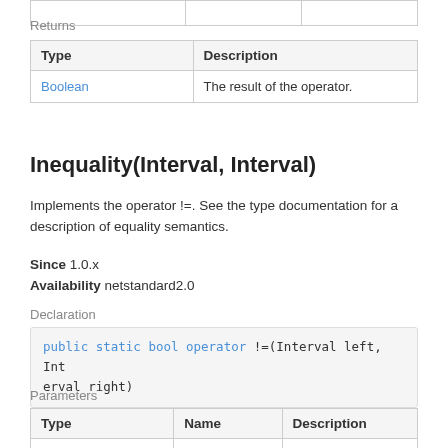| Type | Description |
| --- | --- |
| Boolean | The result of the operator. |
Inequality(Interval, Interval)
Implements the operator !=. See the type documentation for a description of equality semantics.
Since 1.0.x
Availability netstandard2.0
Declaration
public static bool operator !=(Interval left, Interval right)
Parameters
| Type | Name | Description |
| --- | --- | --- |
| Interval | left | The left. |